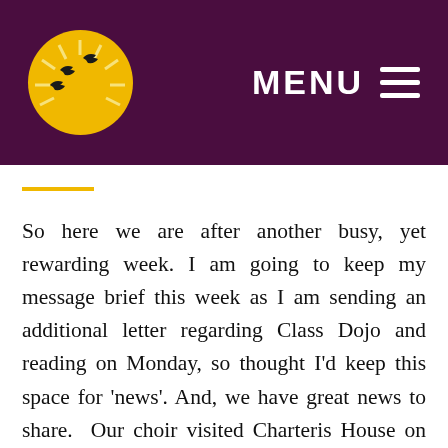MENU
So here we are after another busy, yet rewarding week. I am going to keep my message brief this week as I am sending an additional letter regarding Class Dojo and reading on Monday, so thought I’d keep this space for ‘news’. And, we have great news to share.  Our choir visited Charteris House on Remembrance Day and sang a mixture of old and new songs and the residents loved